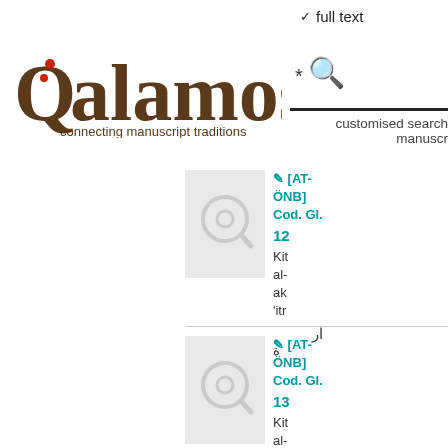✓ full text
[Figure (logo): Qalamos logo with text 'connecting manuscript traditions']
* [search bar with magnifying glass icon]
customised search manuscripts
[AT-ÖNB] Cod. Gl. 12  Kit al- ak 'itr ار ة
[AT-ÖNB] Cod. Gl. 13  Kit al- ma Az al-